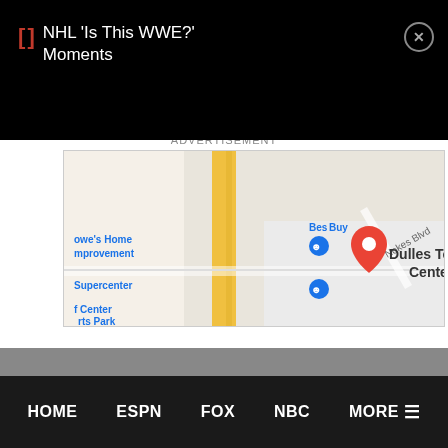NHL 'Is This WWE?' Moments
3:30 PM- Duke at Pitt (ACC RSN, ACC Extra) Wes Durham, James Bates, Rebecca Kaple
ADVERTISEMENT
[Figure (map): Google Maps screenshot showing Dulles Town Center area with Lowe's Home Improvement, Best Buy, Supercenter, and a red location pin marker]
HOME   ESPN   FOX   NBC   MORE